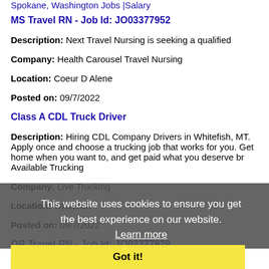Spokane, Washington Jobs |Salary
MS Travel RN - Job Id: JO03377952
Description: Next Travel Nursing is seeking a qualified
Company: Health Carousel Travel Nursing
Location: Coeur D Alene
Posted on: 09/7/2022
Class A CDL Truck Driver
Description: Hiring CDL Company Drivers in Whitefish, MT. Apply once and choose a trucking job that works for you. Get home when you want to, and get paid what you deserve br Available Trucking
Company: Live Trucking
Location: Whitefish
Posted on: 09/7/2022
OR Travel RN - Job Id: JO03377929
Description: Next Travel Nursing is seeking a qualified
Company: Health Carousel Travel Nursing
Location: Moscow
Posted on: 09/7/2022
Team Member
This website uses cookies to ensure you get the best experience on our website.
Learn more
Got it!